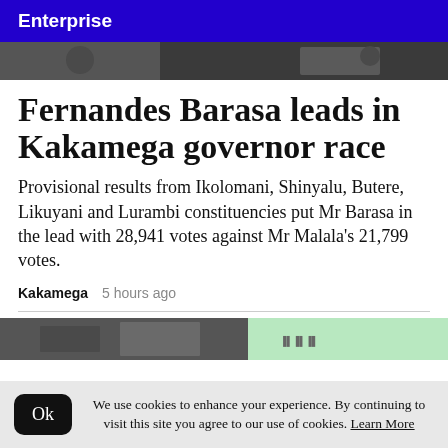Enterprise
[Figure (photo): Top portion of a news article photo, showing people, partially cropped]
Fernandes Barasa leads in Kakamega governor race
Provisional results from Ikolomani, Shinyalu, Butere, Likuyani and Lurambi constituencies put Mr Barasa in the lead with 28,941 votes against Mr Malala's 21,799 votes.
Kakamega   5 hours ago
[Figure (photo): Bottom portion of another news article photo, partially visible]
We use cookies to enhance your experience. By continuing to visit this site you agree to our use of cookies. Learn More